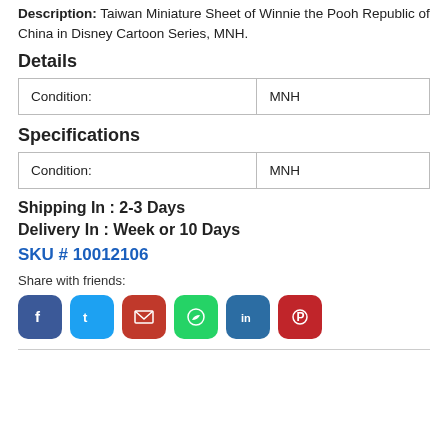Description: Taiwan Miniature Sheet of Winnie the Pooh Republic of China in Disney Cartoon Series, MNH.
Details
| Condition: | MNH |
| --- | --- |
Specifications
| Condition: | MNH |
| --- | --- |
Shipping In : 2-3 Days
Delivery In : Week or 10 Days
SKU # 10012106
Share with friends:
[Figure (other): Social share buttons: Facebook, Twitter, Gmail, WhatsApp, LinkedIn, Pinterest]